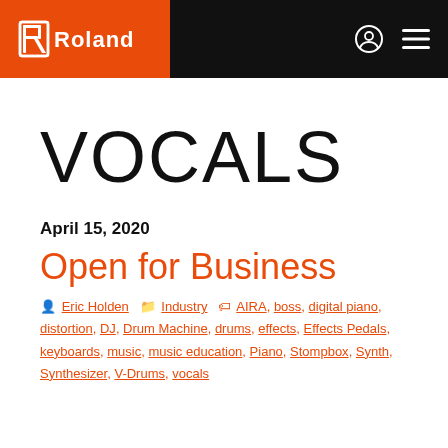Roland
VOCALS
April 15, 2020
Open for Business
Eric Holden  Industry  AIRA, boss, digital piano, distortion, DJ, Drum Machine, drums, effects, Effects Pedals, keyboards, music, music education, Piano, Stompbox, Synth, Synthesizer, V-Drums, vocals